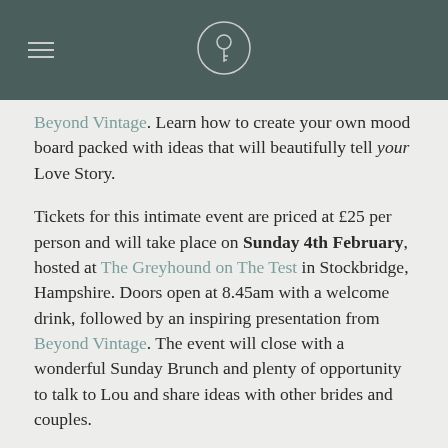Navigation header with hamburger menu and key logo
Beyond Vintage. Learn how to create your own mood board packed with ideas that will beautifully tell your Love Story.
Tickets for this intimate event are priced at £25 per person and will take place on Sunday 4th February, hosted at The Greyhound on The Test in Stockbridge, Hampshire. Doors open at 8.45am with a welcome drink, followed by an inspiring presentation from Beyond Vintage. The event will close with a wonderful Sunday Brunch and plenty of opportunity to talk to Lou and share ideas with other brides and couples.
“I’m so happy we involved Beyond Vintage with our Wedding Styling. Who else would have inspired us to use the colour of the Hawaiian Sunset when he proposed to me for the colour scheme for our wedding. Our day was full of these personal touches which told our story from the